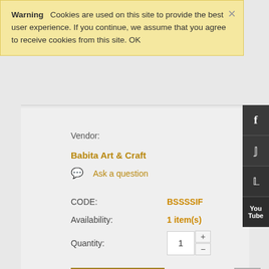Warning   Cookies are used on this site to provide the best user experience. If you continue, we assume that you agree to receive cookies from this site. OK
Vendor:
Babita Art & Craft
Ask a question
CODE:    BSSSSIF
Availability:    1 item(s)
Quantity:    1
ART CART
Ask a question